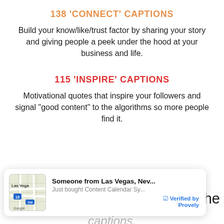138 'CONNECT' CAPTIONS
Build your know/like/trust factor by sharing your story and giving people a peek under the hood at your business and life.
115 'INSPIRE' CAPTIONS
Motivational quotes that inspire your followers and signal "good content" to the algorithms so more people find it.
[Figure (screenshot): Notification popup showing a map of Las Vegas, NV with text: 'Someone from Las Vegas, Nev...' / 'Just bought Content Calendar Sy...' / 'Verified by Provely']
W ... me of the
captions.